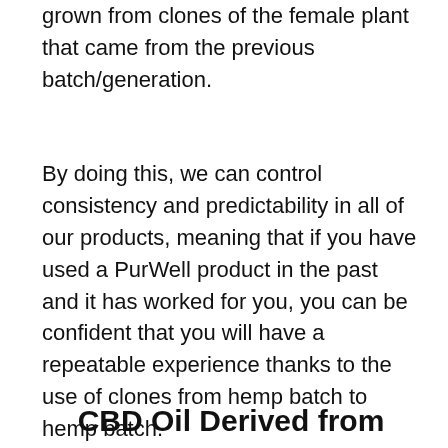grown from clones of the female plant that came from the previous batch/generation.
By doing this, we can control consistency and predictability in all of our products, meaning that if you have used a PurWell product in the past and it has worked for you, you can be confident that you will have a repeatable experience thanks to the use of clones from hemp batch to hemp batch.
CBD Oil Derived from